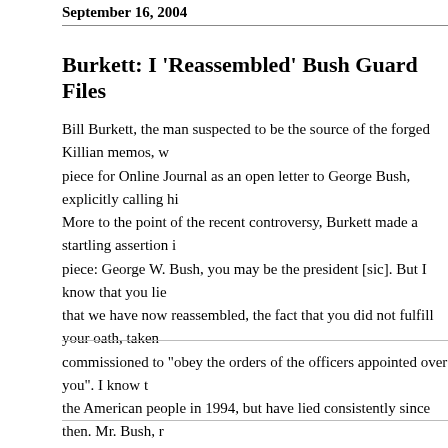September 16, 2004
Burkett: I 'Reassembled' Bush Guard Files
Bill Burkett, the man suspected to be the source of the forged Killian memos, w... piece for Online Journal as an open letter to George Bush, explicitly calling hi... More to the point of the recent controversy, Burkett made a startling assertion i... piece: George W. Bush, you may be the president [sic]. But I know that you lie... that we have now reassembled, the fact that you did not fulfill your oath, taken... commissioned to "obey the orders of the officers appointed over you". I know t... the American people in 1994, but have lied consistently since then. Mr. Bush, r... except you is incompetent. When you failed to show up as ordered for duty, the... truth. And the...
Posted by Ed Morrissey on September 16, 2004 10:15 P